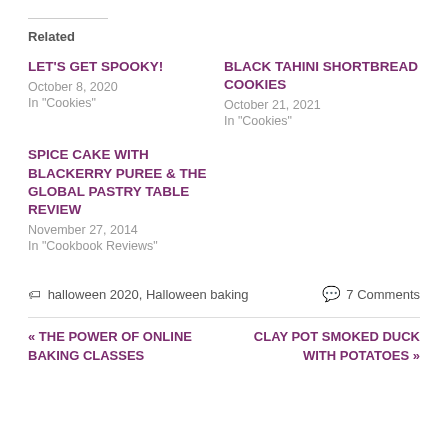Related
LET'S GET SPOOKY!
October 8, 2020
In "Cookies"
BLACK TAHINI SHORTBREAD COOKIES
October 21, 2021
In "Cookies"
SPICE CAKE WITH BLACKERRY PUREE & THE GLOBAL PASTRY TABLE REVIEW
November 27, 2014
In "Cookbook Reviews"
🏷 halloween 2020, Halloween baking    💬 7 Comments
« THE POWER OF ONLINE BAKING CLASSES    CLAY POT SMOKED DUCK WITH POTATOES »